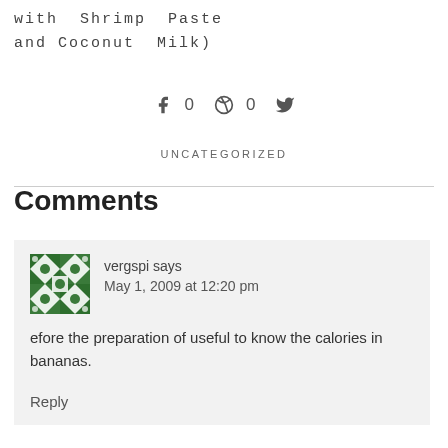with Shrimp Paste
and Coconut Milk)
f 0  @ 0  (Twitter bird icon)
UNCATEGORIZED
Comments
vergspi says
May 1, 2009 at 12:20 pm

efore the preparation of useful to know the calories in bananas.

Reply